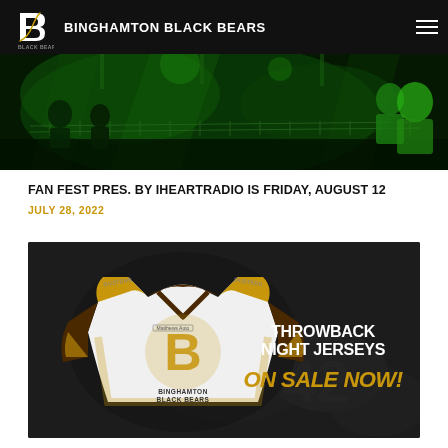BINGHAMTON BLACK BEARS
[Figure (photo): Green-lit crowd scene with metal barriers, people at a concert/event in green lighting]
FAN FEST PRES. BY IHEARTRADIO IS FRIDAY, AUGUST 12
JULY 28, 2022
[Figure (photo): Binghamton Black Bears throwback hockey jersey (gold, brown, white with Dusters branding) on the left, text on the right reads: THROWBACK NIGHT JERSEYS ON SALE NOW!]